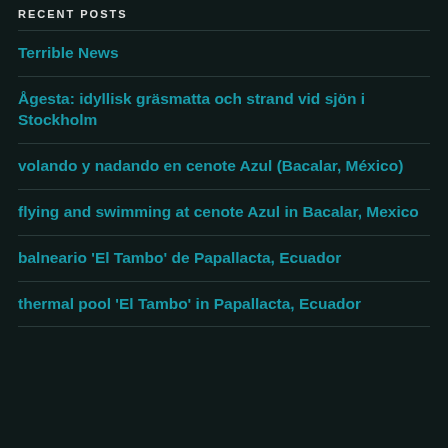RECENT POSTS
Terrible News
Ågesta: idyllisk gräsmatta och strand vid sjön i Stockholm
volando y nadando en cenote Azul (Bacalar, México)
flying and swimming at cenote Azul in Bacalar, Mexico
balneario 'El Tambo' de Papallacta, Ecuador
thermal pool 'El Tambo' in Papallacta, Ecuador